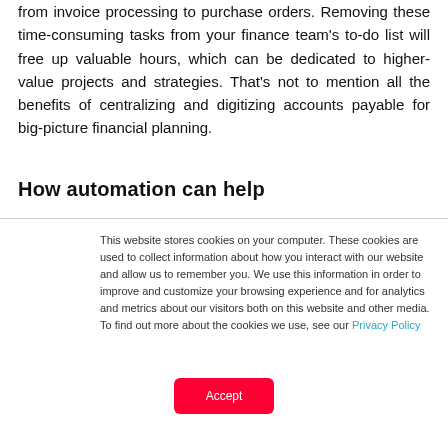from invoice processing to purchase orders. Removing these time-consuming tasks from your finance team's to-do list will free up valuable hours, which can be dedicated to higher-value projects and strategies. That's not to mention all the benefits of centralizing and digitizing accounts payable for big-picture financial planning.
How automation can help
This website stores cookies on your computer. These cookies are used to collect information about how you interact with our website and allow us to remember you. We use this information in order to improve and customize your browsing experience and for analytics and metrics about our visitors both on this website and other media. To find out more about the cookies we use, see our Privacy Policy